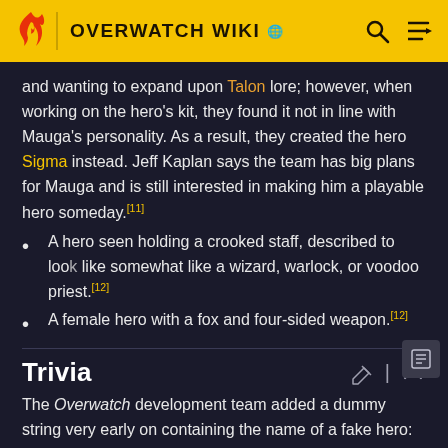OVERWATCH WIKI
and wanting to expand upon Talon lore; however, when working on the hero's kit, they found it not in line with Mauga's personality. As a result, they created the hero Sigma instead. Jeff Kaplan says the team has big plans for Mauga and is still interested in making him a playable hero someday.[11]
A hero seen holding a crooked staff, described to look like somewhat like a wizard, warlock, or voodoo priest.[12]
A female hero with a fox and four-sided weapon.[12]
Trivia
The Overwatch development team added a dummy string very early on containing the name of a fake hero: Dying